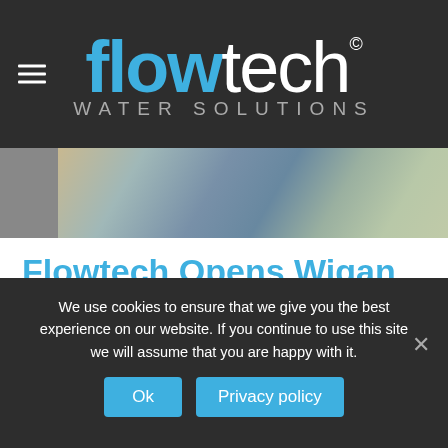flowtech WATER SOLUTIONS
[Figure (photo): Photo strip showing water/canal scene with reflections]
Flowtech Opens Wigan Sales Office
In 2013 Flowtech Water Solutions opened a sales office in the Wigan Investment Centre.
We use cookies to ensure that we give you the best experience on our website. If you continue to use this site we will assume that you are happy with it.